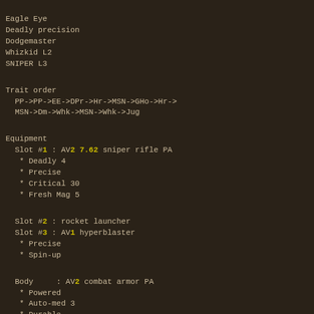Eagle Eye
Deadly precision
Dodgemaster
Whizkid L2
SNIPER L3
Trait order
PP->PP->EE->DPr->Hr->MSN->GHo->Hr->
MSN->Dm->Whk->MSN->Whk->Jug
Equipment
Slot #1 : AV2 7.62 sniper rifle PA
* Deadly 4
* Precise
* Critical 30
* Fresh Mag 5
Slot #2 : rocket launcher
Slot #3 : AV1 hyperblaster
* Precise
* Spin-up
Body   : AV2 combat armor PA
* Powered
* Auto-med 3
* Durable
* Compartments
Head   : ENV helmet B
* Durable
* Heatvision 6
* Darkvision
* Sealed
* Fireproof
* Heated
Utility : AV3 utility AMP
* Auto-med 10